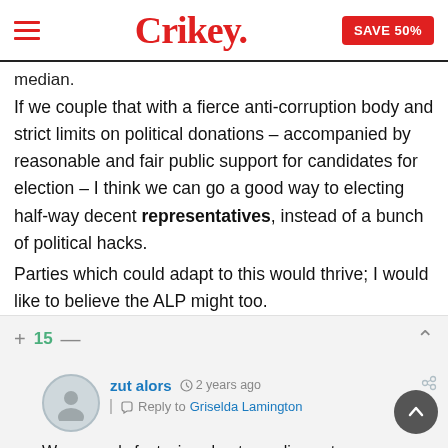Crikey. SAVE 50%
median.
If we couple that with a fierce anti-corruption body and strict limits on political donations – accompanied by reasonable and fair public support for candidates for election – I think we can go a good way to electing half-way decent representatives, instead of a bunch of political hacks.
Parties which could adapt to this would thrive; I would like to believe the ALP might too.
+ 15 —
zut alors  2 years ago
Reply to Griselda Lamington
We can only fantasise about a parliament